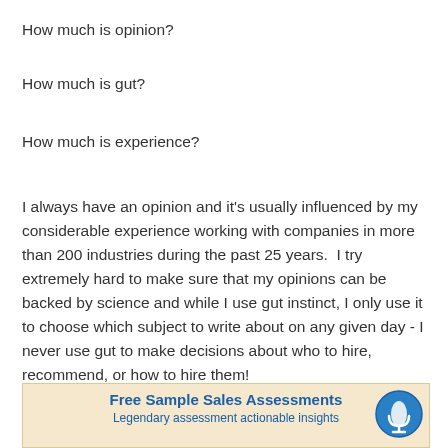How much is opinion?
How much is gut?
How much is experience?
I always have an opinion and it's usually influenced by my considerable experience working with companies in more than 200 industries during the past 25 years.  I try extremely hard to make sure that my opinions can be backed by science and while I use gut instinct, I only use it to choose which subject to write about on any given day - I never use gut to make decisions about who to hire, recommend, or how to hire them!
[Figure (infographic): Banner advertisement for Free Sample Sales Assessments with blue heading text on a tan/beige background and a blue circular icon on the right showing a microphone or sound wave graphic, with subtext 'Legendary assessment actionable insights']